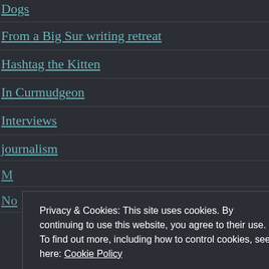Dogs
From a Big Sur writing retreat
Hashtag the Kitten
In Curmudgeon
Interviews
journalism
M
No
Privacy & Cookies: This site uses cookies. By continuing to use this website, you agree to their use. To find out more, including how to control cookies, see here: Cookie Policy
Close and accept